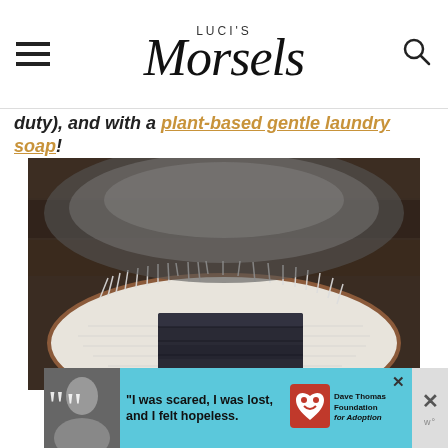LUCI'S Morsels
duty), and with a plant-based gentle laundry soap!
[Figure (photo): Close-up photo of folded dark jeans on a white crocheted/knitted textile rug with fringe, placed on a wooden floor. Additional textiles and items visible in the background.]
[Figure (photo): Advertisement banner with cyan/teal background. Left: black and white photo of a woman with large quotation marks. Center text: 'I was scared, I was lost, and I felt hopeless.' Right: Dave Thomas Foundation for Adoption logo with heart icon.]